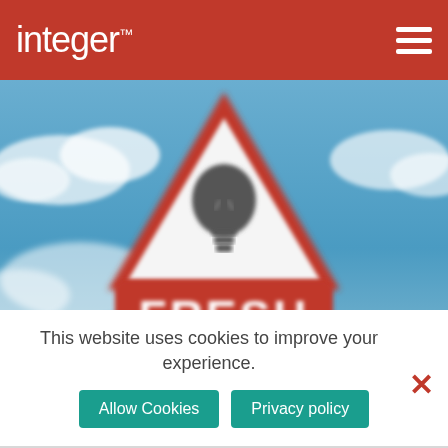integer
[Figure (photo): A blurred outdoor photo showing a red triangular warning road sign with a light bulb icon inside, and below it a red rectangular sign reading 'FRESH IDEAS', set against a blue cloudy sky.]
This website uses cookies to improve your experience.
Allow Cookies
Privacy policy